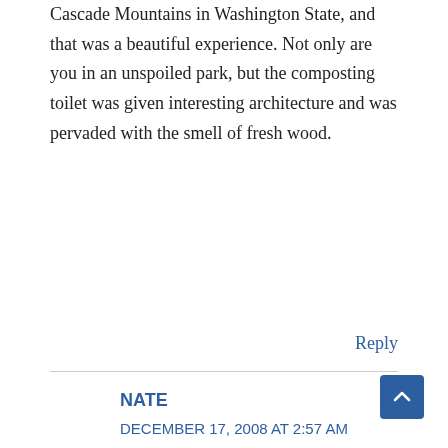Cascade Mountains in Washington State, and that was a beautiful experience. Not only are you in an unspoiled park, but the composting toilet was given interesting architecture and was pervaded with the smell of fresh wood.
Reply
NATE
DECEMBER 17, 2008 AT 2:57 AM
>You don't have to remove your pants to use a squatting toilet without making a mess...

Great tip!